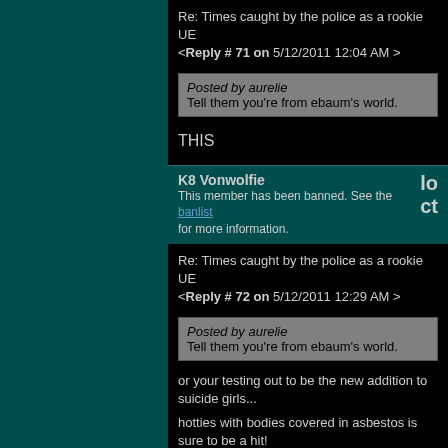Re: Times caught by the police as a rookie UE <Reply # 71 on 5/12/2011 12:04 AM >
Posted by aurelie
Tell them you're from ebaum's world.
THIS
K8 Vonwolfie
This member has been banned. See the banlist for more information.
Re: Times caught by the police as a rookie UE <Reply # 72 on 5/12/2011 12:29 AM >
Posted by aurelie
Tell them you're from ebaum's world.
or your testing out to be the new addition to suicide girls...
hotties with bodies covered in asbestos is sure to be a hit!
[last edit 5/12/2011 12:30 AM by K8 Vonwolfie - edited 1 times]
SCARECR0W	location: Dallas Metroplex